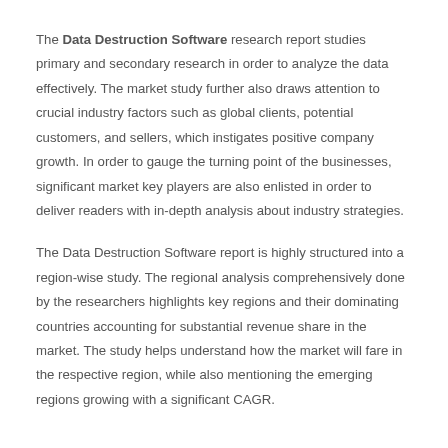The Data Destruction Software research report studies primary and secondary research in order to analyze the data effectively. The market study further also draws attention to crucial industry factors such as global clients, potential customers, and sellers, which instigates positive company growth. In order to gauge the turning point of the businesses, significant market key players are also enlisted in order to deliver readers with in-depth analysis about industry strategies.
The Data Destruction Software report is highly structured into a region-wise study. The regional analysis comprehensively done by the researchers highlights key regions and their dominating countries accounting for substantial revenue share in the market. The study helps understand how the market will fare in the respective region, while also mentioning the emerging regions growing with a significant CAGR.